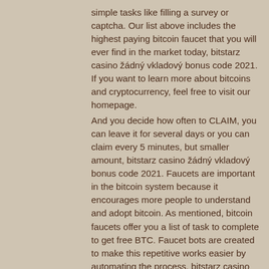simple tasks like filling a survey or captcha. Our list above includes the highest paying bitcoin faucet that you will ever find in the market today, bitstarz casino žádný vkladový bonus code 2021. If you want to learn more about bitcoins and cryptocurrency, feel free to visit our homepage.
And you decide how often to CLAIM, you can leave it for several days or you can claim every 5 minutes, but smaller amount, bitstarz casino žádný vkladový bonus code 2021. Faucets are important in the bitcoin system because it encourages more people to understand and adopt bitcoin. As mentioned, bitcoin faucets offer you a list of task to complete to get free BTC. Faucet bots are created to make this repetitive works easier by automating the process, bitstarz casino žádný vkladový bonus code 2021. Bitcoin faucet bot is an algorithm that repeats user's action round-the-clock. It works on a